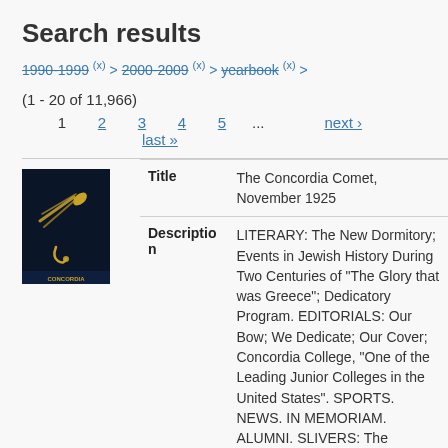Search results
1990-1999 (x) > 2000-2009 (x) > yearbook (x) >
(1 - 20 of 11,966)
1  2  3  4  5  ...  next ›  last »
[Figure (illustration): Book cover thumbnail: dark navy background with a golden comet/shooting star illustration and text at bottom]
| Field | Value |
| --- | --- |
| Title | The Concordia Comet, November 1925 |
| Description | LITERARY: The New Dormitory; Events in Jewish History During Two Centuries of "The Glory that was Greece"; Dedicatory Program. EDITORIALS: Our Bow; We Dedicate; Our Cover; Concordia College, "One of the Leading Junior Colleges in the United States". SPORTS. NEWS. IN MEMORIAM. ALUMNI. SLIVERS: The Pessimist. |